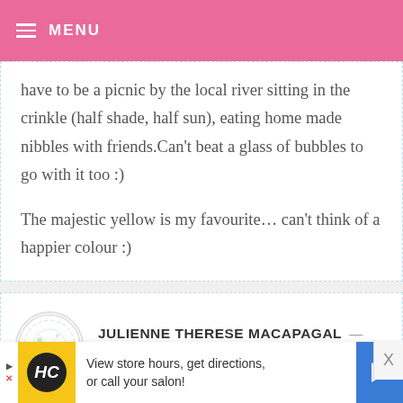MENU
have to be a picnic by the local river sitting in the crinkle (half shade, half sun), eating home made nibbles with friends.Can't beat a glass of bubbles to go with it too :)

The majestic yellow is my favourite… can't think of a happier colour :)
JULIENNE THERESE MACAPAGAL — APRIL 27, 2015 @ 12:32 AM REPLY
[Figure (other): View store hours, get directions, or call your salon! advertisement with HC logo and direction arrow]